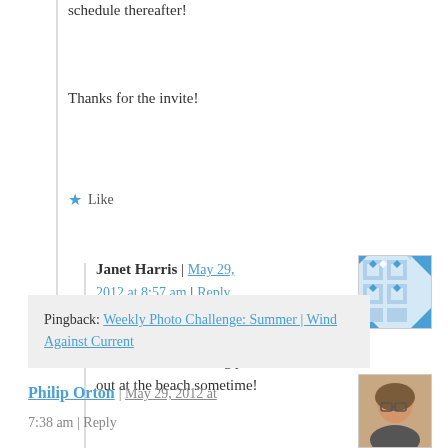schedule thereafter!
Thanks for the invite!
★ Like
Janet Harris | May 29, 2012 at 8:57 am | Reply
That's wonderful Johna! I'll look forward to seeing you out at the beach sometime!
★ Like
Pingback: Weekly Photo Challenge: Summer | Wind Against Current
Philip Orton | May 29, 2012 at 7:38 am | Reply